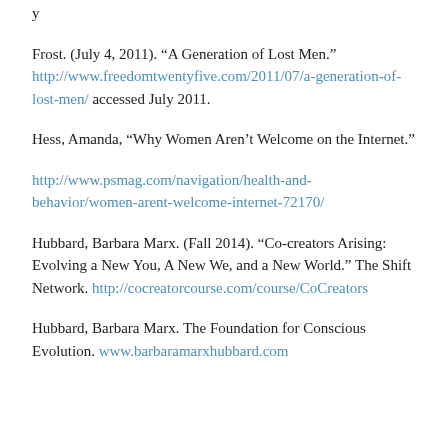Frost. (July 4, 2011). “A Generation of Lost Men.” http://www.freedomtwentyfive.com/2011/07/a-generation-of-lost-men/ accessed July 2011.
Hess, Amanda, “Why Women Aren’t Welcome on the Internet.”
http://www.psmag.com/navigation/health-and-behavior/women-arent-welcome-internet-72170/
Hubbard, Barbara Marx. (Fall 2014). “Co-creators Arising: Evolving a New You, A New We, and a New World.” The Shift Network. http://cocreatorcourse.com/course/CoCreators
Hubbard, Barbara Marx. The Foundation for Conscious Evolution. www.barbaramarxhubbard.com